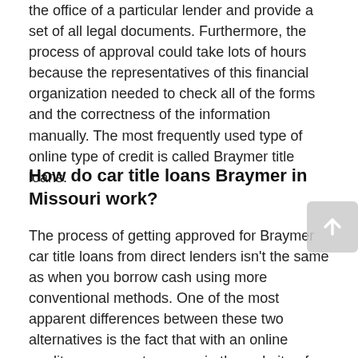the office of a particular lender and provide a set of all legal documents. Furthermore, the process of approval could take lots of hours because the representatives of this financial organization needed to check all of the forms and the correctness of the information manually. The most frequently used type of online type of credit is called Braymer title loans.
How do car title loans Braymer in Missouri work?
The process of getting approved for Braymer car title loans from direct lenders isn't the same as when you borrow cash using more conventional methods. One of the most apparent differences between these two alternatives is the fact that with an online credit, you can get money via the website of the lender. The only activity you are recommended to do before applying for the loan is to find a particular financial organization you want to cooperate with, but this process should pay attention to different